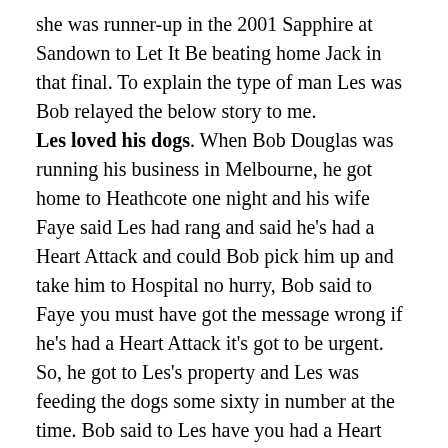she was runner-up in the 2001 Sapphire at Sandown to Let It Be beating home Jack in that final. To explain the type of man Les was Bob relayed the below story to me. Les loved his dogs. When Bob Douglas was running his business in Melbourne, he got home to Heathcote one night and his wife Faye said Les had rang and said he's had a Heart Attack and could Bob pick him up and take him to Hospital no hurry, Bob said to Faye you must have got the message wrong if he's had a Heart Attack it's got to be urgent. So, he got to Les's property and Les was feeding the dogs some sixty in number at the time. Bob said to Les have you had a Heart Attack, to which he replied "Yeah I had a blood test this morning and they rang and told me to get straight to Hospital." Bob immediately said well let's go, he said no I have got to feed the dogs. Bob told him sit down and he would feed the dogs and then they would get him to Hospital. Bob fed the dogs and pups, but while driving past the house on the way out Les said stop I got to see if the race dogs got a start at Bendigo it via Fax in those days. Bob said you have got to be kidding but he stopped him again on the way past a